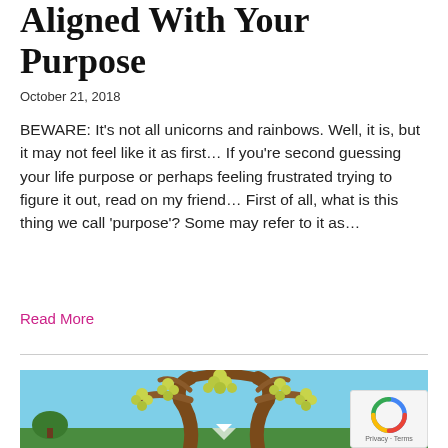Aligned With Your Purpose
October 21, 2018
BEWARE: It’s not all unicorns and rainbows. Well, it is, but it may not feel like it as first… If you’re second guessing your life purpose or perhaps feeling frustrated trying to figure it out, read on my friend… First of all, what is this thing we call ‘purpose’? Some may refer to it as…
Read More
[Figure (illustration): Colorful folk-art style illustration of a tree with lush green grape-like clusters, brown trunk and branches, on a light blue background with smaller green trees visible]